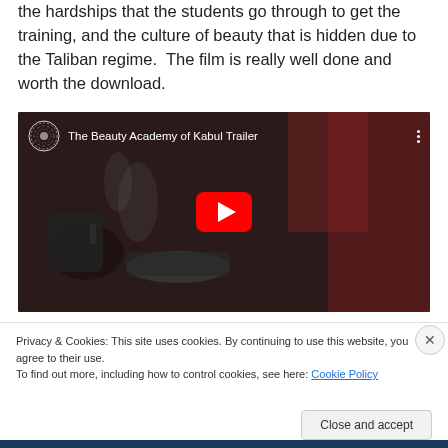the hardships that the students go through to get the training, and the culture of beauty that is hidden due to the Taliban regime.  The film is really well done and worth the download.
[Figure (screenshot): Embedded YouTube video thumbnail for 'The Beauty Academy of Kabul Trailer' showing a dark kitchen scene with a kettle and cups, with a red YouTube play button in the center.]
Privacy & Cookies: This site uses cookies. By continuing to use this website, you agree to their use.
To find out more, including how to control cookies, see here: Cookie Policy